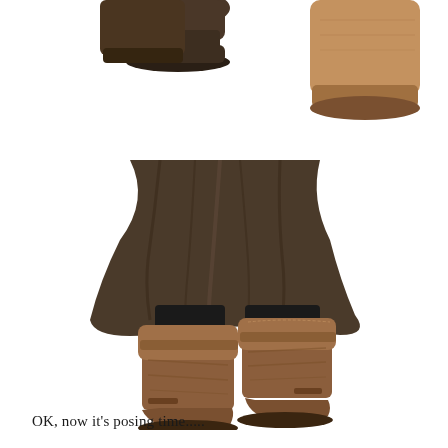[Figure (photo): Top portion of a photo showing two pairs of boots/feet against a white background — one pair of shorter tan/camel suede ankle boots on the right, and dark boots on the left, cropped at the top of the page.]
[Figure (photo): Lower portion of a figure wearing a dark brown flowing skirt/coat with tall brown suede pirate-style boots with folded-over cuffs, dark leggings visible above the boots, against a white background.]
OK, now it's posing time.....